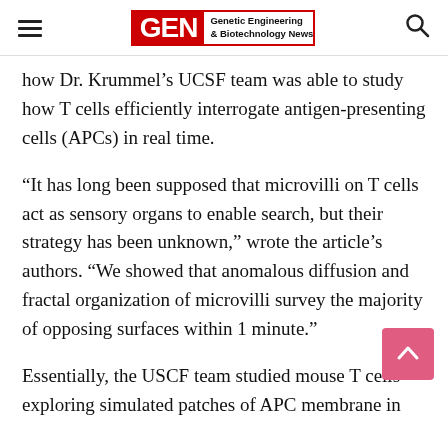GEN — Genetic Engineering & Biotechnology News
how Dr. Krummel's UCSF team was able to study how T cells efficiently interrogate antigen-presenting cells (APCs) in real time.
“It has long been supposed that microvilli on T cells act as sensory organs to enable search, but their strategy has been unknown,” wrote the article’s authors. “We showed that anomalous diffusion and fractal organization of microvilli survey the majority of opposing surfaces within 1 minute.”
Essentially, the USCF team studied mouse T cells exploring simulated patches of APC membrane in